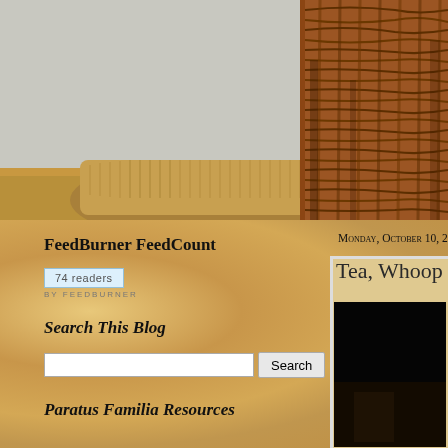[Figure (photo): Close-up photo of wicker basket with burlap fabric on a wooden surface, warm brown tones]
FeedBurner FeedCount
[Figure (screenshot): FeedBurner widget showing 74 readers, with 'BY FEEDBURNER' text below]
Search This Blog
Search
Paratus Familia Resources
Monday, October 10, 201
Tea, Whoop